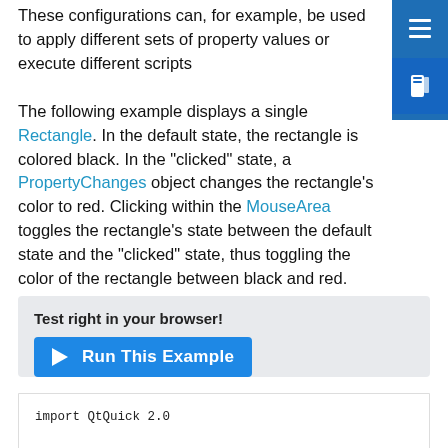These configurations can, for example, be used to apply different sets of property values or execute different scripts
The following example displays a single Rectangle. In the default state, the rectangle is colored black. In the "clicked" state, a PropertyChanges object changes the rectangle's color to red. Clicking within the MouseArea toggles the rectangle's state between the default state and the "clicked" state, thus toggling the color of the rectangle between black and red.
Test right in your browser!
[Figure (other): Blue 'Run This Example' button with play triangle icon]
import QtQuick 2.0

Rectangle {
    id: myRect
    width: 100; height: 100
    color: "black"